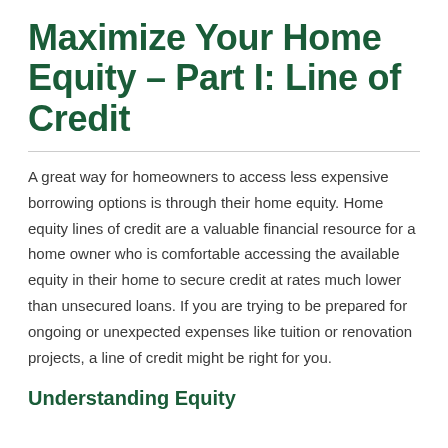Maximize Your Home Equity – Part I: Line of Credit
A great way for homeowners to access less expensive borrowing options is through their home equity. Home equity lines of credit are a valuable financial resource for a home owner who is comfortable accessing the available equity in their home to secure credit at rates much lower than unsecured loans. If you are trying to be prepared for ongoing or unexpected expenses like tuition or renovation projects, a line of credit might be right for you.
Understanding Equity